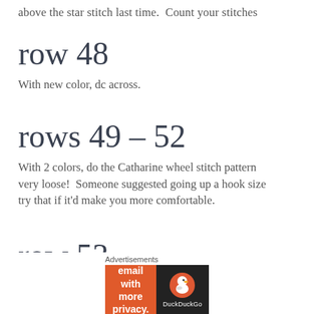above the star stitch last time.  Count your stitches
row 48
With new color, dc across.
rows 49 – 52
With 2 colors, do the Catharine wheel stitch pattern very loose!  Someone suggested going up a hook size try that if it'd make you more comfortable.
row 53
With new color, dc across the same way we did after
[Figure (screenshot): DuckDuckGo advertisement banner: orange left panel with 'Search, browse, and email with more privacy. All in One Free App' and dark right panel with DuckDuckGo logo]